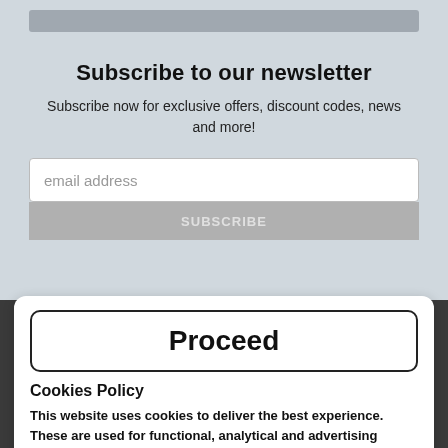Subscribe to our newsletter
Subscribe now for exclusive offers, discount codes, news and more!
[Figure (screenshot): Email address input field with placeholder text 'email address']
[Figure (screenshot): Grey SUBSCRIBE button, partially visible]
[Figure (screenshot): Proceed button — large white button with thick black border and bold 'Proceed' text]
Cookies Policy
This website uses cookies to deliver the best experience. These are used for functional, analytical and advertising purposes. For more information please visit our /privacy-policy page.